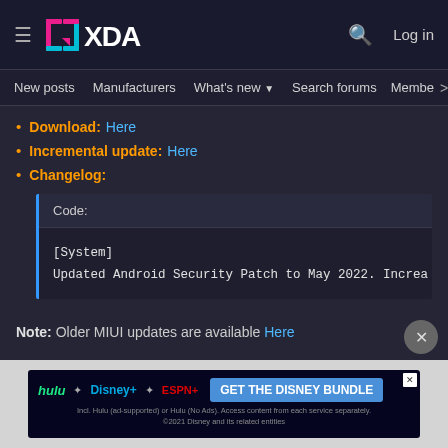XDA Developers — Navigation: New posts | Manufacturers | What's new | Search forums | Members
Download: Here
Incremental update: Here
Changelog:
Code:
[System]
Updated Android Security Patch to May 2022. Increa
Note: Older MIUI updates are available Here
[Figure (screenshot): Disney Bundle advertisement banner showing Hulu, Disney+, ESPN+ logos with GET THE DISNEY BUNDLE call to action]